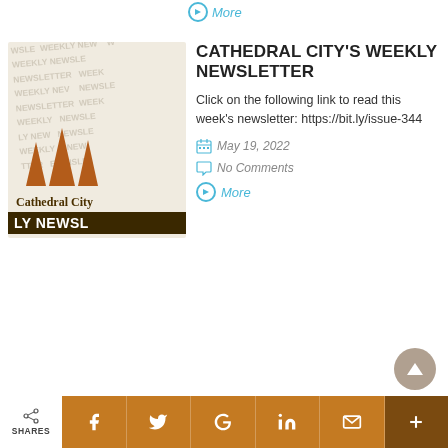More
[Figure (logo): Cathedral City Weekly Newsletter logo with three brown mountain peaks and text 'Cathedral City' and 'LY NEWSL' on dark band, with repeated watermark text 'WEEKLY NEWSLETTER' in background]
CATHEDRAL CITY'S WEEKLY NEWSLETTER
Click on the following link to read this week's newsletter: https://bit.ly/issue-344
May 19, 2022
No Comments
More